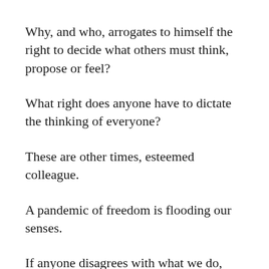Why, and who, arrogates to himself the right to decide what others must think, propose or feel?
What right does anyone have to dictate the thinking of everyone?
These are other times, esteemed colleague.
A pandemic of freedom is flooding our senses.
If anyone disagrees with what we do, there will never be anything worse than condemnation and the penalty of silence, the penance of ostracism, the expiation of ignorance and the elimination, at a single blow, our freedom of